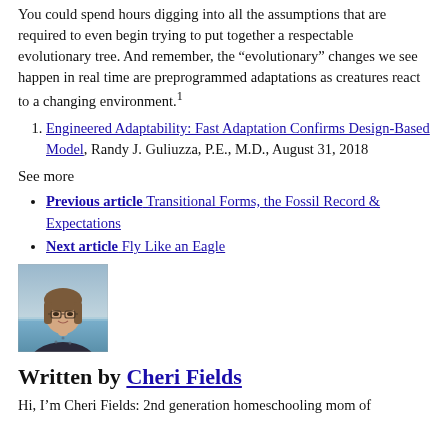You could spend hours digging into all the assumptions that are required to even begin trying to put together a respectable evolutionary tree. And remember, the “evolutionary” changes we see happen in real time are preprogrammed adaptations as creatures react to a changing environment.¹
Engineered Adaptability: Fast Adaptation Confirms Design-Based Model, Randy J. Guliuzza, P.E., M.D., August 31, 2018
See more
Previous article Transitional Forms, the Fossil Record & Expectations
Next article Fly Like an Eagle
[Figure (photo): Headshot photo of Cheri Fields, a woman with glasses and shoulder-length hair, smiling, with a beach/water background]
Written by Cheri Fields
Hi, I’m Cheri Fields: 2nd generation homeschooling mom of